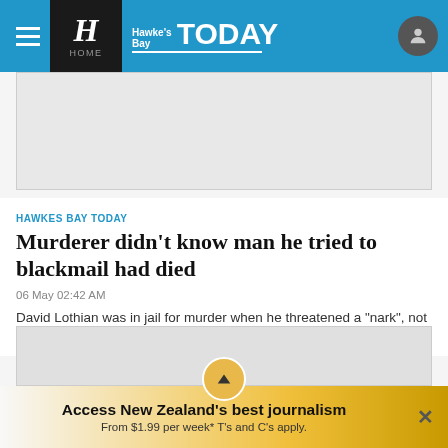Hawke's Bay TODAY
[Figure (other): Grey advertisement placeholder rectangle]
HAWKES BAY TODAY
Murderer didn't know man he tried to blackmail had died
06 May 02:42 AM
David Lothian was in jail for murder when he threatened a "nark", not knowing he had died.
[Figure (other): Grey image placeholder rectangle with scroll-up button]
Access New Zealand's best journalism From $1.99 per week* T's and C's apply.